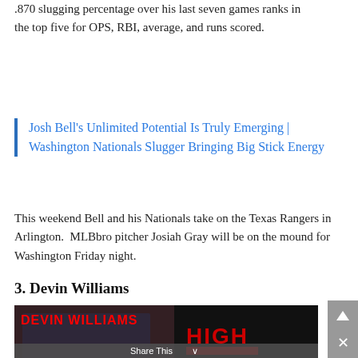.870 slugging percentage over his last seven games ranks in the top five for OPS, RBI, average, and runs scored.
Josh Bell's Unlimited Potential Is Truly Emerging | Washington Nationals Slugger Bringing Big Stick Energy
This weekend Bell and his Nationals take on the Texas Rangers in Arlington.  MLBbro pitcher Josiah Gray will be on the mound for Washington Friday night.
3. Devin Williams
[Figure (photo): Photo of Devin Williams in Milwaukee Brewers uniform pitching, with graphic overlay text 'DEVIN WILLIAMS' in red and 'HIGH' in red. Share This bar at bottom.]